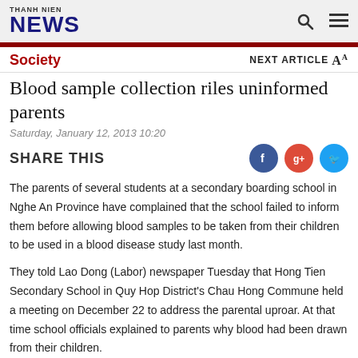THANH NIEN NEWS
Society
Blood sample collection riles uninformed parents
Saturday, January 12, 2013 10:20
SHARE THIS
The parents of several students at a secondary boarding school in Nghe An Province have complained that the school failed to inform them before allowing blood samples to be taken from their children to be used in a blood disease study last month.
They told Lao Dong (Labor) newspaper Tuesday that Hong Tien Secondary School in Quy Hop District's Chau Hong Commune held a meeting on December 22 to address the parental uproar. At that time school officials explained to parents why blood had been drawn from their children.